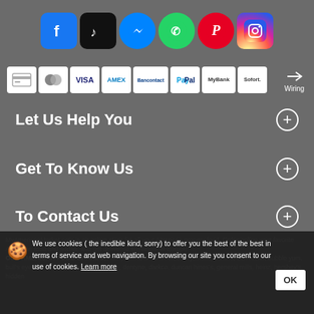[Figure (logo): Social media icons row: Facebook, TikTok, Messenger, WhatsApp, Pinterest, Instagram]
[Figure (logo): Payment method icons: credit card, Mastercard, Visa, Amex, Bancontact, PayPal, MyBank, Sofort, Wiring]
Let Us Help You
Get To Know Us
To Contact Us
MyAmericanMarket.com is an online store for all your American grocery food. Order online your favorite American food and sodas, and get delivered anywhere in Europe! ... OUR AMERICAN FOOD BRANDS: A&W, Arm and Hammer, aunt jemima, bakers, ben foster, bubble yum, bull's eye, coffee mate, crisco, del monte, dentyne, darkco, duncan hines's, general mills, heinz, hershey's, hidden
🍪 We use cookies ( the inedible kind, sorry) to offer you the best of the best in terms of service and web navigation. By browsing our site you consent to our use of cookies. Learn more